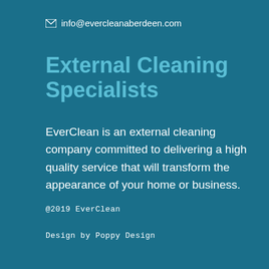info@evercleanaberdeen.com
External Cleaning Specialists
EverClean is an external cleaning company committed to delivering a high quality service that will transform the appearance of your home or business.
@2019 EverClean
Design by Poppy Design